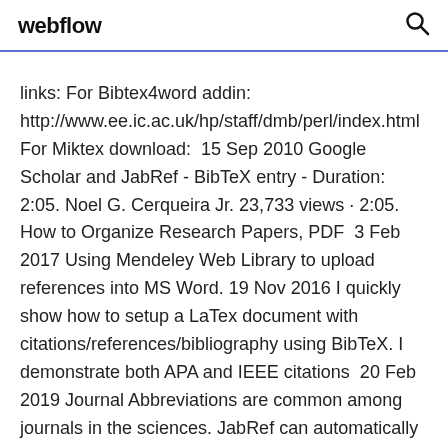webflow
links: For Bibtex4word addin: http://www.ee.ic.ac.uk/hp/staff/dmb/perl/index.html For Miktex download:  15 Sep 2010 Google Scholar and JabRef - BibTeX entry - Duration: 2:05. Noel G. Cerqueira Jr. 23,733 views · 2:05. How to Organize Research Papers, PDF  3 Feb 2017 Using Mendeley Web Library to upload references into MS Word. 19 Nov 2016 I quickly show how to setup a LaTex document with citations/references/bibliography using BibTeX. I demonstrate both APA and IEEE citations  20 Feb 2019 Journal Abbreviations are common among journals in the sciences. JabRef can automatically toggle journal names between abbreviated and  31 Jul 2014 How to